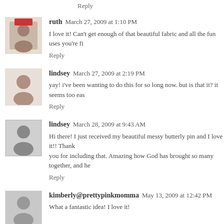Reply
ruth  March 27, 2009 at 1:10 PM
I love it! Can't get enough of that beautiful fabric and all the fun uses you're fi
Reply
lindsey  March 27, 2009 at 2:19 PM
yay! i've been wanting to do this for so long now. but is that it? it seems too eas
Reply
lindsey  March 28, 2009 at 9:43 AM
Hi there! I just received my beautiful messy butterly pin and I love it!! Thank you for including that. Amazing how God has brought so many together, and he
Reply
kimberly@prettypinkmomma  May 13, 2009 at 12:42 PM
What a fantastic idea! I love it!